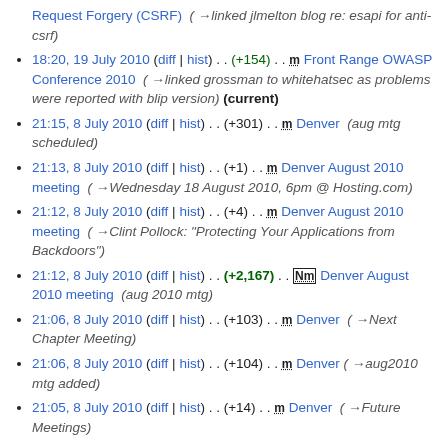Request Forgery (CSRF)  (→linked jlmelton blog re: esapi for anti-csrf)
18:20, 19 July 2010 (diff | hist) . . (+154) . . m Front Range OWASP Conference 2010  (→linked grossman to whitehatsec as problems were reported with blip version) (current)
21:15, 8 July 2010 (diff | hist) . . (+301) . . m Denver  (aug mtg scheduled)
21:13, 8 July 2010 (diff | hist) . . (+1) . . m Denver August 2010 meeting  (→Wednesday 18 August 2010, 6pm @ Hosting.com)
21:12, 8 July 2010 (diff | hist) . . (+4) . . m Denver August 2010 meeting  (→Clint Pollock: "Protecting Your Applications from Backdoors")
21:12, 8 July 2010 (diff | hist) . . (+2,167) . . Nm Denver August 2010 meeting  (aug 2010 mtg)
21:06, 8 July 2010 (diff | hist) . . (+103) . . m Denver  (→Next Chapter Meeting)
21:06, 8 July 2010 (diff | hist) . . (+104) . . m Denver  (→aug2010 mtg added)
21:05, 8 July 2010 (diff | hist) . . (+14) . . m Denver  (→Future Meetings)